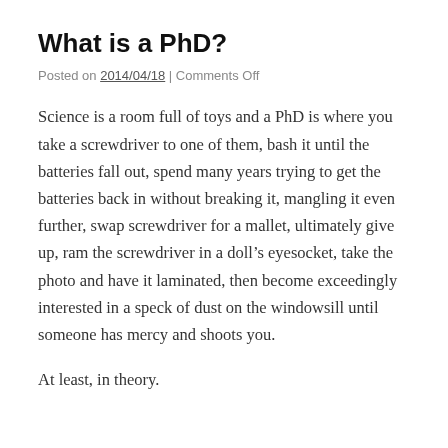What is a PhD?
Posted on 2014/04/18 | Comments Off
Science is a room full of toys and a PhD is where you take a screwdriver to one of them, bash it until the batteries fall out, spend many years trying to get the batteries back in without breaking it, mangling it even further, swap screwdriver for a mallet, ultimately give up, ram the screwdriver in a doll’s eyesocket, take the photo and have it laminated, then become exceedingly interested in a speck of dust on the windowsill until someone has mercy and shoots you.
At least, in theory.